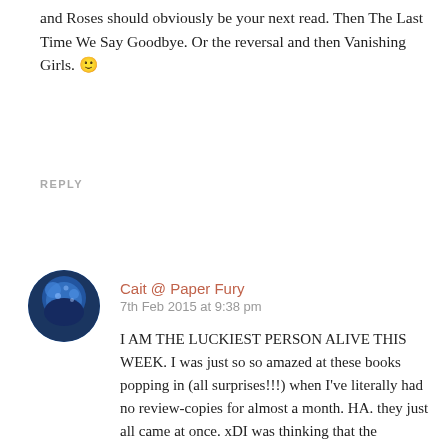and Roses should obviously be your next read. Then The Last Time We Say Goodbye. Or the reversal and then Vanishing Girls. 🙂
REPLY
[Figure (photo): Circular avatar photo of Cait @ Paper Fury, showing a blue-toned decorative image]
Cait @ Paper Fury
7th Feb 2015 at 9:38 pm
I AM THE LUCKIEST PERSON ALIVE THIS WEEK. I was just so so amazed at these books popping in (all surprises!!!) when I've literally had no review-copies for almost a month. HA. they just all came at once. xDI was thinking that the blogosphere had been quite calm lately..so typical it had to have a bit of an explosion over that twitter bingo drama. I think it was quite immature of the author. -_-YAY SO GLAD MY BLOG ISN'T TOO SLOW!